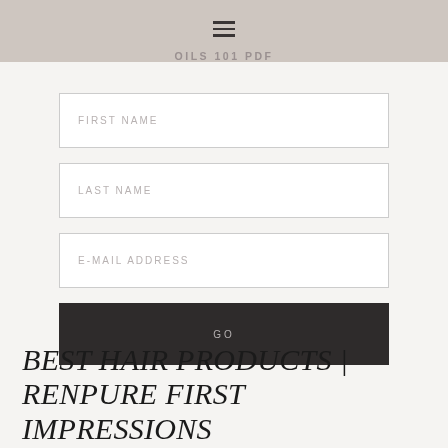OILS 101 PDF
[Figure (screenshot): Web form with First Name, Last Name, and E-Mail Address input fields, and a dark GO button]
BEST HAIR PRODUCTS | RENPURE FIRST IMPRESSIONS